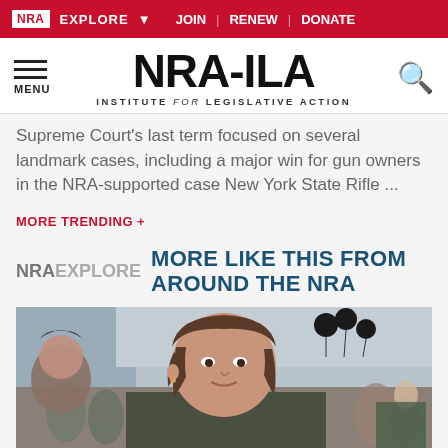NRA EXPLORE ▾  JOIN | RENEW | DONATE
[Figure (logo): NRA-ILA Institute for Legislative Action logo with hamburger menu and search icon]
Supreme Court's last term focused on several landmark cases, including a major win for gun owners in the NRA-supported case New York State Rifle ...
MORE TRENDING +
NRAEXPLORE MORE LIKE THIS FROM AROUND THE NRA
[Figure (photo): Woman with brown hair speaking or smiling at an outdoor event with a crowd in the background, black balloons visible]